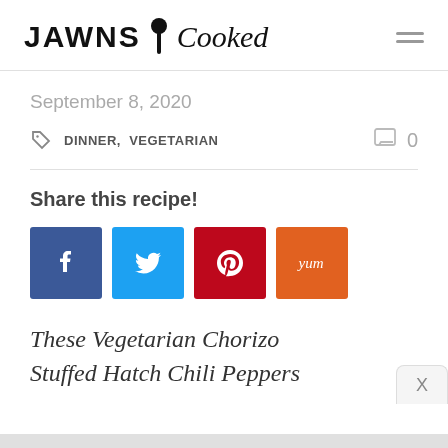JAWNS i Cooked
September 8, 2020
DINNER, VEGETARIAN   0
Share this recipe!
[Figure (infographic): Social share buttons: Facebook (blue), Twitter (light blue), Pinterest (red), Yummly (orange)]
These Vegetarian Chorizo Stuffed Hatch Chili Peppers